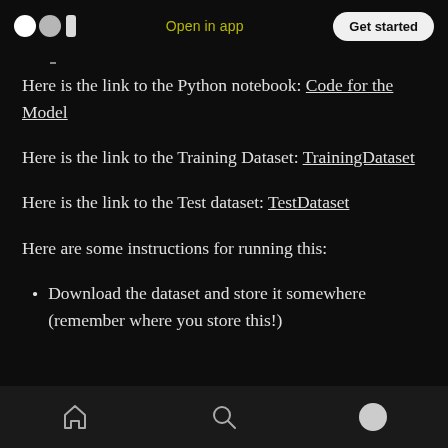Open in app  Get started
Here is the link to the Python notebook: Code for the Model
Here is the link to the Training Dataset: TrainingDataset
Here is the link to the Test dataset: TestDataset
Here are some instructions for running this:
Download the dataset and store it somewhere (remember where you store this!)
home  search  profile